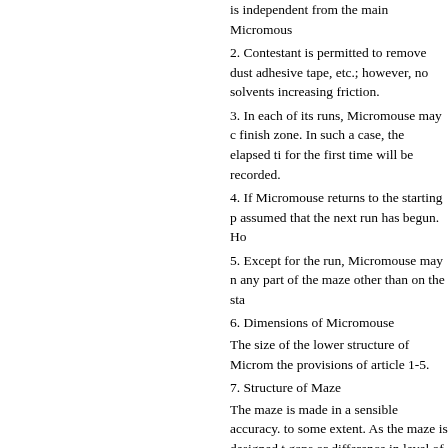is independent from the main Micromous
2. Contestant is permitted to remove dust adhesive tape, etc.; however, no solvents increasing friction.
3. In each of its runs, Micromouse may c finish zone. In such a case, the elapsed ti for the first time will be recorded.
4. If Micromouse returns to the starting p assumed that the next run has begun. Ho
5. Except for the run, Micromouse may n any part of the maze other than on the sta
6. Dimensions of Micromouse
The size of the lower structure of Microm the provisions of article 1-5.
7. Structure of Maze
The maze is made in a sensible accuracy. to some extent. As the maze is designed t gaps or difference in level of approximate There may be non-uniform coloring, disc
8. Type and position of the Sensors for re
Type: Transmission infrared sensors.
Optical axis placed 1 cm above the floor.
Position: Start sensor: At the boundary be
Goal Sensor: The entry point for the finis
9. In the 4 section of finish zone, there wi